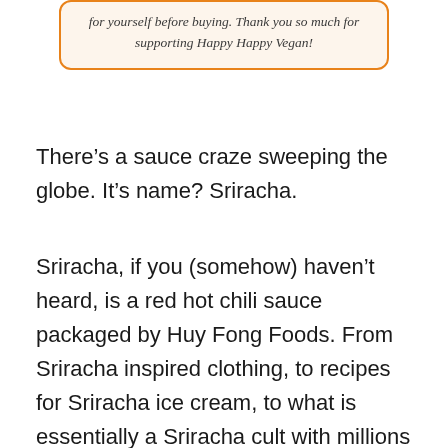for yourself before buying. Thank you so much for supporting Happy Happy Vegan!
There’s a sauce craze sweeping the globe. It’s name? Sriracha.
Sriracha, if you (somehow) haven’t heard, is a red hot chili sauce packaged by Huy Fong Foods. From Sriracha inspired clothing, to recipes for Sriracha ice cream, to what is essentially a Sriracha cult with millions of devotees (you can even book tours of their